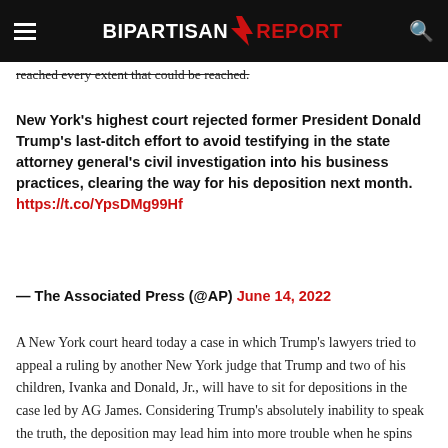BIPARTISAN REPORT
reached every extent that could be reached.
New York's highest court rejected former President Donald Trump's last-ditch effort to avoid testifying in the state attorney general's civil investigation into his business practices, clearing the way for his deposition next month. https://t.co/YpsDMg99Hf
— The Associated Press (@AP) June 14, 2022
A New York court heard today a case in which Trump's lawyers tried to appeal a ruling by another New York judge that Trump and two of his children, Ivanka and Donald, Jr., will have to sit for depositions in the case led by AG James. Considering Trump's absolutely inability to speak the truth, the deposition may lead him into more trouble when he spins